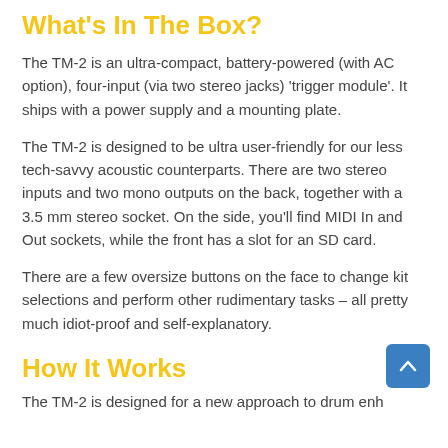What's In The Box?
The TM-2 is an ultra-compact, battery-powered (with AC option), four-input (via two stereo jacks) 'trigger module'. It ships with a power supply and a mounting plate.
The TM-2 is designed to be ultra user-friendly for our less tech-savvy acoustic counterparts. There are two stereo inputs and two mono outputs on the back, together with a 3.5 mm stereo socket. On the side, you'll find MIDI In and Out sockets, while the front has a slot for an SD card.
There are a few oversize buttons on the face to change kit selections and perform other rudimentary tasks – all pretty much idiot-proof and self-explanatory.
How It Works
The TM-2 is designed for a new approach to drum enhancement...